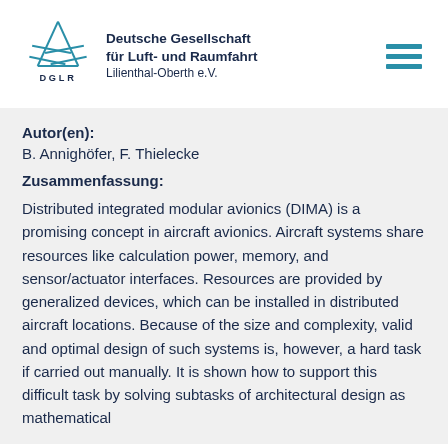[Figure (logo): DGLR logo: stylized star/rocket shape in teal/blue lines with text 'DGLR' below]
Deutsche Gesellschaft für Luft- und Raumfahrt Lilienthal-Oberth e.V.
Autor(en):
B. Annighöfer, F. Thielecke
Zusammenfassung:
Distributed integrated modular avionics (DIMA) is a promising concept in aircraft avionics. Aircraft systems share resources like calculation power, memory, and sensor/actuator interfaces. Resources are provided by generalized devices, which can be installed in distributed aircraft locations. Because of the size and complexity, valid and optimal design of such systems is, however, a hard task if carried out manually. It is shown how to support this difficult task by solving subtasks of architectural design as mathematical